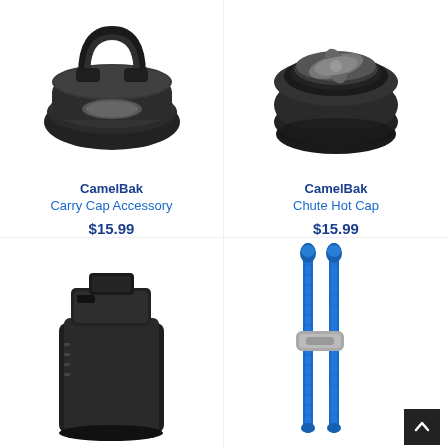[Figure (photo): CamelBak Carry Cap Accessory - black flip cap with handle, top view]
CamelBak
Carry Cap Accessory
$15.99
[Figure (photo): CamelBak Chute Hot Cap - black round cap with grey twist knob, top view]
CamelBak
Chute Hot Cap
$15.99
[Figure (photo): Black water bottle cap/lid accessory, side angle view]
[Figure (photo): Two blue elastic bungee cord straps with grey connector clip]